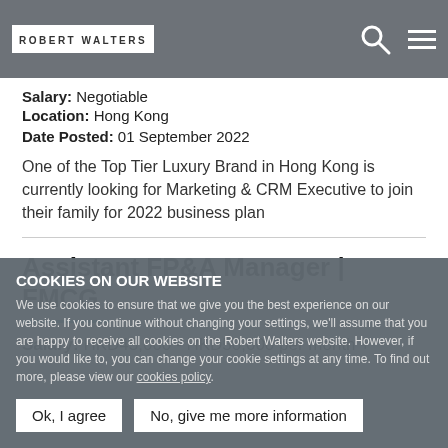[Figure (logo): Robert Walters logo in white box on grey header bar with search icon and hamburger menu]
Salary:  Negotiable
Location:  Hong Kong
Date Posted:  01 September 2022
One of the Top Tier Luxury Brand in Hong Kong is currently looking for Marketing & CRM Executive to join their family for 2022 business plan
Assistant FP&A Manager | FMCG
Salary:  HKD45,000 - HKD50,000 per month +
COOKIES ON OUR WEBSITE
We use cookies to ensure that we give you the best experience on our website. If you continue without changing your settings, we'll assume that you are happy to receive all cookies on the Robert Walters website. However, if you would like to, you can change your cookie settings at any time. To find out more, please view our cookies policy.
Ok, I agree | No, give me more information